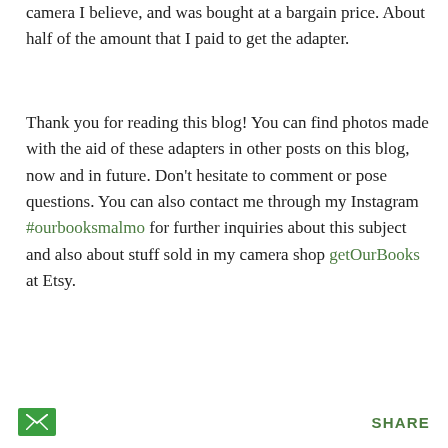camera I believe, and was bought at a bargain price. About half of the amount that I paid to get the adapter.
Thank you for reading this blog! You can find photos made with the aid of these adapters in other posts on this blog, now and in future. Don't hesitate to comment or pose questions. You can also contact me through my Instagram #ourbooksmalmo for further inquiries about this subject and also about stuff sold in my camera shop getOurBooks at Etsy.
[Figure (other): Green email/envelope icon button at bottom left, and SHARE text link at bottom right]